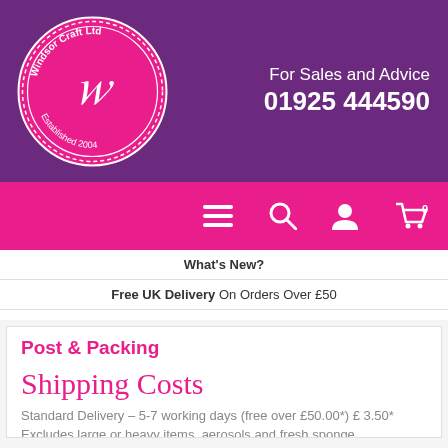[Figure (logo): Windsor Craft Ltd circular logo with decorative border, established 2004, white on pink background]
For Sales and Advice
01925 444590
[Figure (infographic): Pink navigation bar with hamburger menu icon, search icon, user account icon, and shopping cart icon with 0]
What's New?
Free UK Delivery On Orders Over £50
Bulk Buy Savings
Post & Packing
Shipping Costs
Standard Delivery – 5-7 working days (free over £50.00*) £3.50*
Excludes large or heavy items, aerosols and fresh sponge